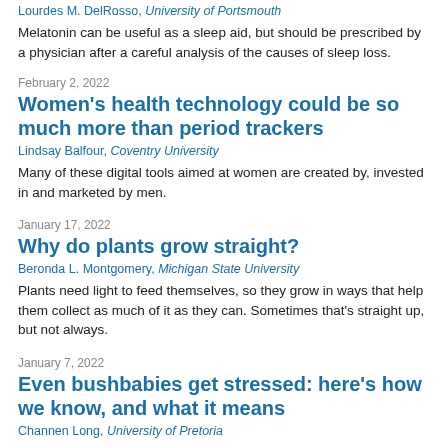Lourdes M. DelRosso, University of Portsmouth
Melatonin can be useful as a sleep aid, but should be prescribed by a physician after a careful analysis of the causes of sleep loss.
February 2, 2022
Women’s health technology could be so much more than period trackers
Lindsay Balfour, Coventry University
Many of these digital tools aimed at women are created by, invested in and marketed by men.
January 17, 2022
Why do plants grow straight?
Beronda L. Montgomery, Michigan State University
Plants need light to feed themselves, so they grow in ways that help them collect as much of it as they can. Sometimes that’s straight up, but not always.
January 7, 2022
Even bushbabies get stressed: here’s how we know, and what it means
Channen Long, University of Pretoria
Little is known about what physiological mechanisms African primates use to cope with environmental and social changes such as climate change